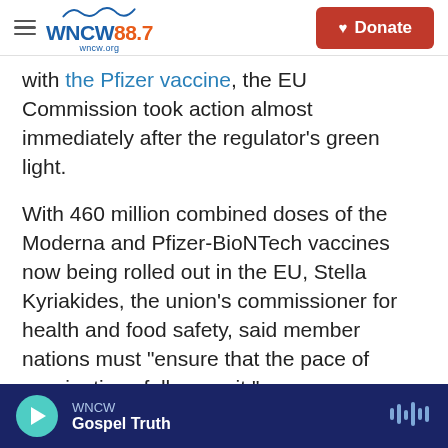WNCW 88.7 | wncw.org | Donate
with the Pfizer vaccine, the EU Commission took action almost immediately after the regulator's green light.
With 460 million combined doses of the Moderna and Pfizer-BioNTech vaccines now being rolled out in the EU, Stella Kyriakides, the union's commissioner for health and food safety, said member nations must "ensure that the pace of vaccinations follows suit."
"This vaccine provides us with another tool to overcome the current emergency," said Emer
WNCW | Gospel Truth